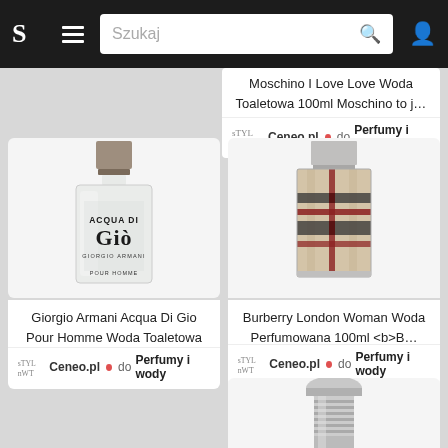[Figure (screenshot): Mobile app navigation bar with logo S, hamburger menu, search field with text Szukaj, and user icon]
Moschino I Love Love Woda Toaletowa 100ml Moschino to j…
Ceneo.pl • do Perfumy i wody
[Figure (photo): Acqua Di Gio Giorgio Armani perfume bottle - frosted glass rectangular bottle with gray/brown cap]
Giorgio Armani Acqua Di Gio Pour Homme Woda Toaletowa 1…
Ceneo.pl • do Perfumy i wody
[Figure (photo): Burberry London Woman perfume bottle - square bottle with Burberry plaid pattern in beige, red, black]
Burberry London Woman Woda Perfumowana 100ml <b>B…
Ceneo.pl • do Perfumy i wody
[Figure (photo): Partial view of another perfume bottle at bottom right]